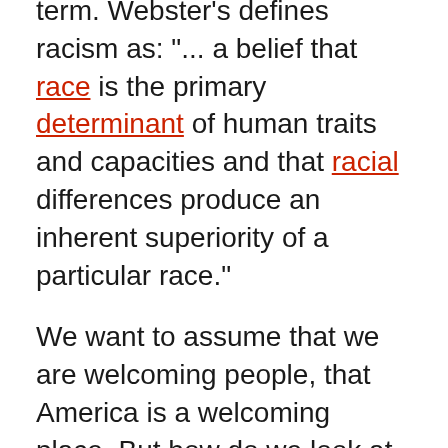term. Webster's defines racism as: "... a belief that race is the primary determinant of human traits and capacities and that racial differences produce an inherent superiority of a particular race."
We want to assume that we are welcoming people, that America is a welcoming place. But how do we look at foreigners? Can we appreciate different cultures? Can we share our privileges with others? Or better yet, how should we look at our lives? Are we grateful? What is the church supposed to look like? Being a follower of Jesus Christ includes renouncing of your place of privilege, as a white, as a Schwenkfelder, as a male, and the list goes on.
THE GOSPEL CHALLENGES US TO LOOK AT